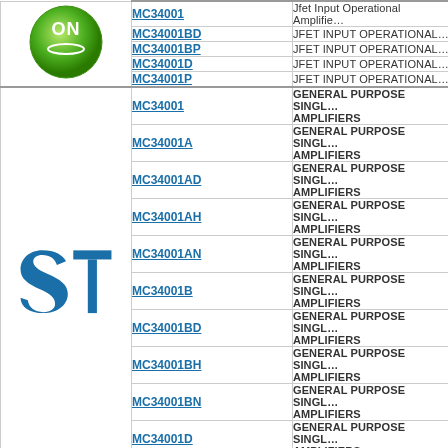| Logo | Part Number | Description |
| --- | --- | --- |
| ON Semiconductor | MC34001 | Jfet Input Operational Amplifie... |
|  | MC34001BD | JFET INPUT OPERATIONAL... |
|  | MC34001BP | JFET INPUT OPERATIONAL... |
|  | MC34001D | JFET INPUT OPERATIONAL... |
|  | MC34001P | JFET INPUT OPERATIONAL... |
| ST | MC34001 | GENERAL PURPOSE SINGLE AMPLIFIERS |
|  | MC34001A | GENERAL PURPOSE SINGLE AMPLIFIERS |
|  | MC34001AD | GENERAL PURPOSE SINGLE AMPLIFIERS |
|  | MC34001AH | GENERAL PURPOSE SINGLE AMPLIFIERS |
|  | MC34001AN | GENERAL PURPOSE SINGLE AMPLIFIERS |
|  | MC34001B | GENERAL PURPOSE SINGLE AMPLIFIERS |
|  | MC34001BD | GENERAL PURPOSE SINGLE AMPLIFIERS |
|  | MC34001BH | GENERAL PURPOSE SINGLE AMPLIFIERS |
|  | MC34001BN | GENERAL PURPOSE SINGLE AMPLIFIERS |
|  | MC34001D | GENERAL PURPOSE SINGLE AMPLIFIERS |
|  | ... | GENERAL PURPOSE SINGLE AMPLIFIERS |